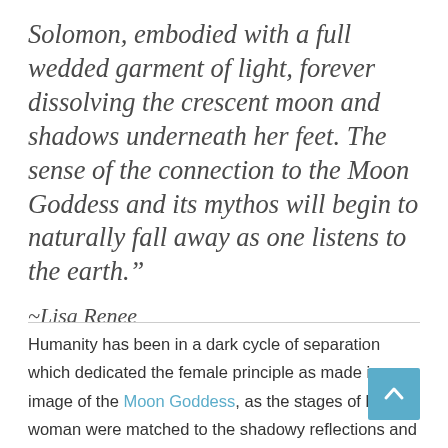Solomon, embodied with a full wedded garment of light, forever dissolving the crescent moon and shadows underneath her feet. The sense of the connection to the Moon Goddess and its mythos will begin to naturally fall away as one listens to the earth.”
~Lisa Renee
Humanity has been in a dark cycle of separation which dedicated the female principle as made in image of the Moon Goddess, as the stages of being a woman were matched to the shadowy reflections and phases of Lunar light. Being equated to the